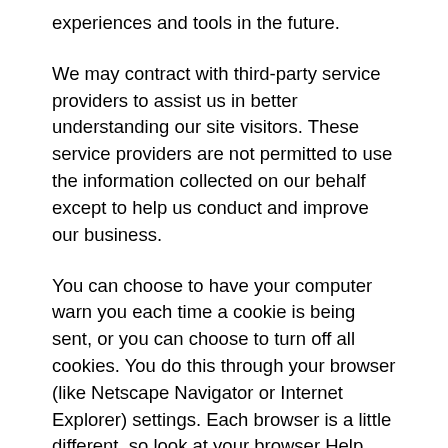experiences and tools in the future.
We may contract with third-party service providers to assist us in better understanding our site visitors. These service providers are not permitted to use the information collected on our behalf except to help us conduct and improve our business.
You can choose to have your computer warn you each time a cookie is being sent, or you can choose to turn off all cookies. You do this through your browser (like Netscape Navigator or Internet Explorer) settings. Each browser is a little different, so look at your browser Help menu to learn the correct way to modify your cookies. If you turn cookies off, you won't have access to many features that make your site experience more efficient and some of our services will not function properly. However, you can still place orders